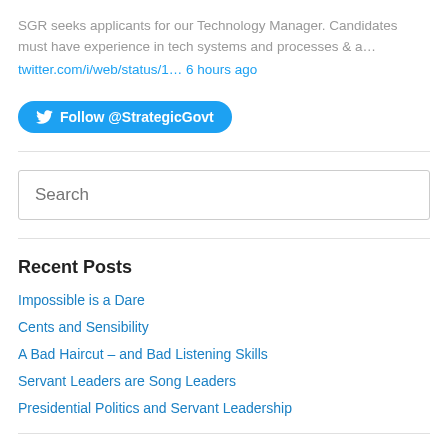SGR seeks applicants for our Technology Manager. Candidates must have experience in tech systems and processes & a…
twitter.com/i/web/status/1… 6 hours ago
Follow @StrategicGovt
Search
Recent Posts
Impossible is a Dare
Cents and Sensibility
A Bad Haircut – and Bad Listening Skills
Servant Leaders are Song Leaders
Presidential Politics and Servant Leadership